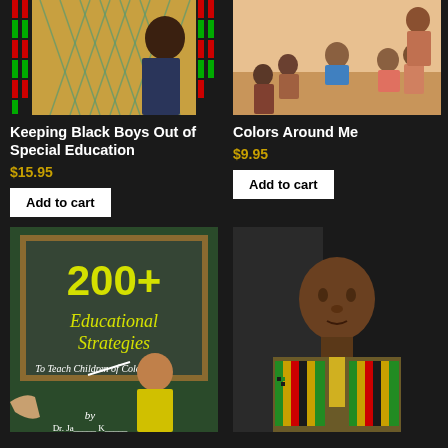[Figure (photo): Book cover: Keeping Black Boys Out of Special Education - shows a boy at a chain-link fence with African kente cloth colors]
[Figure (photo): Book cover: Colors Around Me - shows children sitting in a circle on the floor]
Keeping Black Boys Out of Special Education
$15.95
Add to cart
Colors Around Me
$9.95
Add to cart
[Figure (photo): Book cover: 200+ Educational Strategies To Teach Children of Color - shows a teacher at a chalkboard]
[Figure (photo): Photo of a man in a suit wearing a kente cloth stole]